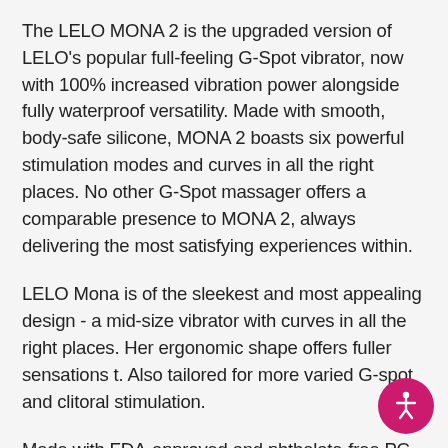The LELO MONA 2 is the upgraded version of LELO's popular full-feeling G-Spot vibrator, now with 100% increased vibration power alongside fully waterproof versatility. Made with smooth, body-safe silicone, MONA 2 boasts six powerful stimulation modes and curves in all the right places. No other G-Spot massager offers a comparable presence to MONA 2, always delivering the most satisfying experiences within.
LELO Mona is of the sleekest and most appealing design - a mid-size vibrator with curves in all the right places. Her ergonomic shape offers fuller sensations t. Also tailored for more varied G-spot and clitoral stimulation.
Made with FDA-approved and phthalate-free PC-ABS/Silicone, she delivers up to 4 hours of near-silent vibrations after just a 2-hour charge. Speed and inter are easily controllable via her intuitive interface dial, while